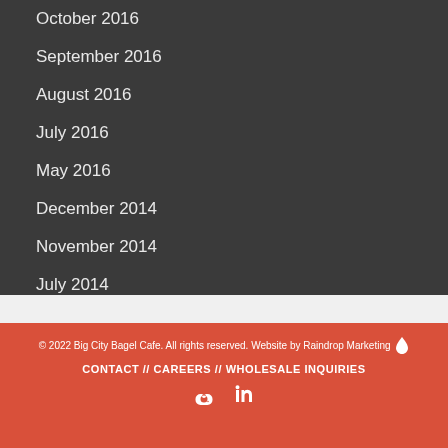October 2016
September 2016
August 2016
July 2016
May 2016
December 2014
November 2014
July 2014
© 2022 Big City Bagel Cafe. All rights reserved. Website by Raindrop Marketing 🔥
CONTACT // CAREERS // WHOLESALE INQUIRIES